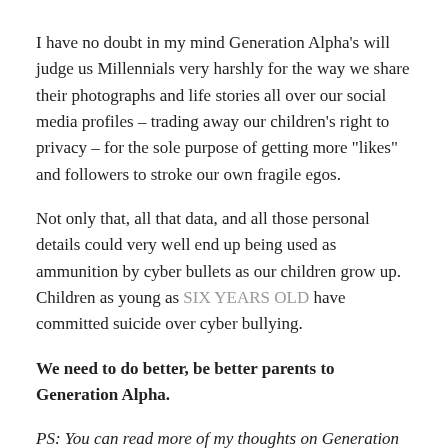I have no doubt in my mind Generation Alpha's will judge us Millennials very harshly for the way we share their photographs and life stories all over our social media profiles – trading away our children's right to privacy – for the sole purpose of getting more "likes" and followers to stroke our own fragile egos.
Not only that, all that data, and all those personal details could very well end up being used as ammunition by cyber bullets as our children grow up. Children as young as SIX YEARS OLD have committed suicide over cyber bullying.
We need to do better, be better parents to Generation Alpha.
PS: You can read more of my thoughts on Generation Alpha, aka "Mommy's Little Cyborgs" here and here